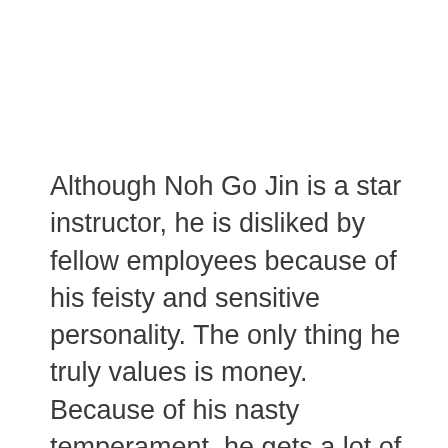Although Noh Go Jin is a star instructor, he is disliked by fellow employees because of his feisty and sensitive personality. The only thing he truly values is money. Because of his nasty temperament, he gets a lot of death threats as a joke. However, the death threats worsen, and he creates his own secret in order to catch the criminal.
On the other hand, Lee Shin Ah is a timid yet diligent secretary. No one has ever been Noh Go Jin's secretary for more than three